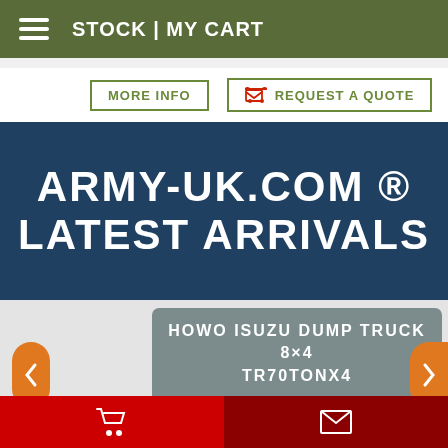STOCK | MY CART
MORE INFO
REQUEST A QUOTE
ARMY-UK.COM ® LATEST ARRIVALS
HOWO ISUZU DUMP TRUCK 8×4 TR70TON X4